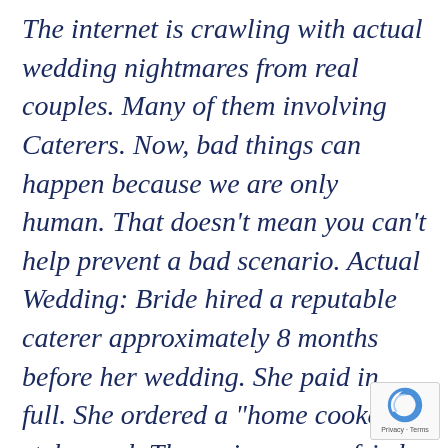The internet is crawling with actual wedding nightmares from real couples. Many of them involving Caterers. Now, bad things can happen because we are only human. That doesn't mean you can't help prevent a bad scenario. Actual Wedding: Bride hired a reputable caterer approximately 8 months before her wedding. She paid in full. She ordered a "home cooked" style meal. The main course; fried and baked chicken on the bone. Day of wedding, the planner couldn't get a
[Figure (logo): Google reCAPTCHA badge with spinning arrow logo and Privacy - Terms text]